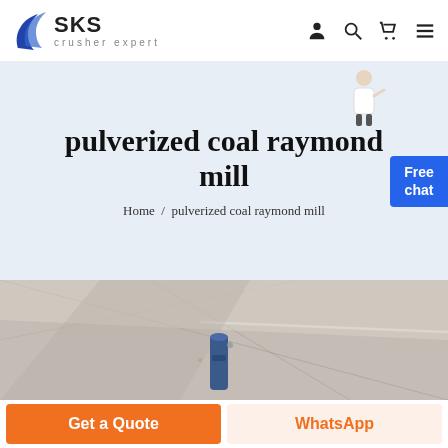SKS crusher expert
pulverized coal raymond mill
Home / pulverized coal raymond mill
[Figure (photo): Industrial machinery photo showing interior of a pulverized coal raymond mill with ceiling and mechanical components visible]
Get a Quote
WhatsApp